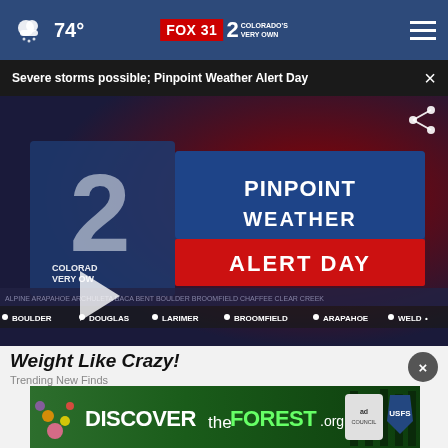74° FOX 31 2 COLORADO'S VERY OWN
Severe storms possible; Pinpoint Weather Alert Day
[Figure (screenshot): Pinpoint Weather Alert Day video thumbnail showing KDVR Fox 31 Colorado's Very Own Pinpoint Weather Alert Day graphic with county ticker including BOULDER, DOUGLAS, LARIMER, BROOMFIELD, ARAPAHOE, WELD, JEFFERSON and a play button overlay]
Weight Like Crazy!
Trending New Finds
[Figure (photo): DISCOVERtheFOREST.org advertisement banner with forest imagery, Ad Council logo, and US Forest Service shield logo]